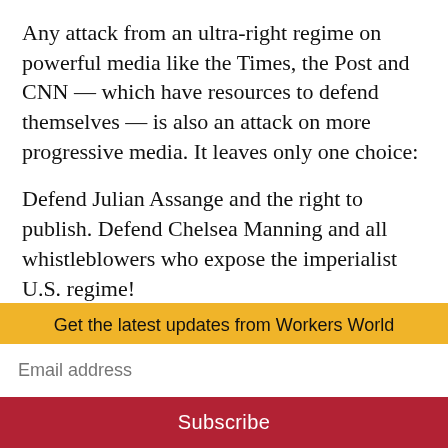Any attack from an ultra-right regime on powerful media like the Times, the Post and CNN — which have resources to defend themselves — is also an attack on more progressive media. It leaves only one choice:
Defend Julian Assange and the right to publish. Defend Chelsea Manning and all whistleblowers who expose the imperialist U.S. regime!
[Figure (infographic): Row of social sharing buttons: Facebook (blue circle), Twitter (light blue circle), WhatsApp (green circle), Email (grey circle), Print (dark green circle), More/ellipsis (blue-grey circle), and a yellow arrow dropdown button]
Get the latest updates from Workers World
Email address
Subscribe